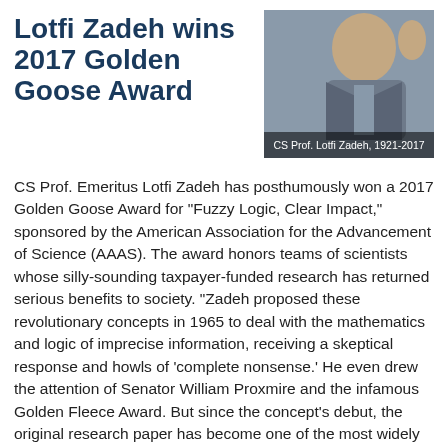Lotfi Zadeh wins 2017 Golden Goose Award
[Figure (photo): Photo of CS Prof. Lotfi Zadeh, smiling elderly man, captioned 'CS Prof. Lotfi Zadeh, 1921-2017']
CS Prof. Emeritus Lotfi Zadeh has posthumously won a 2017 Golden Goose Award for "Fuzzy Logic, Clear Impact," sponsored by the American Association for the Advancement of Science (AAAS).  The award honors teams of scientists whose silly-sounding taxpayer-funded research has returned serious benefits to society.  "Zadeh proposed these revolutionary concepts in 1965 to deal with the mathematics and logic of imprecise information, receiving a skeptical response and howls of 'complete nonsense.' He even drew the attention of Senator William Proxmire and the infamous Golden Fleece Award. But since the concept's debut, the original research paper has become one of the most widely cited in history, used in more than 16,000 patents and applied